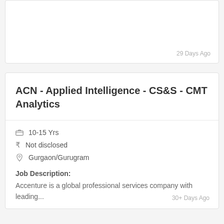29 Days Ago
ACN - Applied Intelligence - CS&S - CMT Analytics
10-15 Yrs
₹ Not disclosed
Gurgaon/Gurugram
Job Description:
Accenture is a global professional services company with leading...
30+ Days Ago